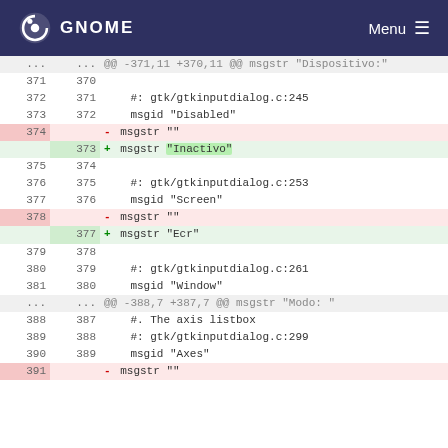GNOME  Menu
Diff view showing changes to a .po translation file. Lines 371-391 with additions and deletions for msgstr translations of Disabled, Screen, Window, and Axes strings.